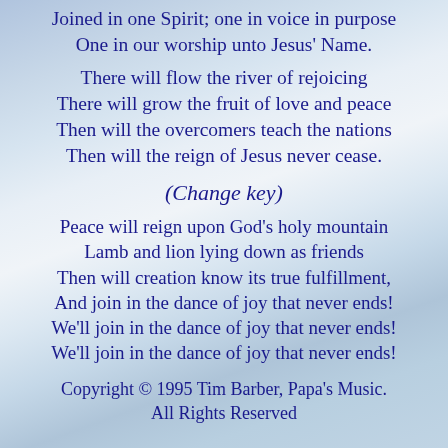Joined in one Spirit; one in voice in purpose
One in our worship unto Jesus' Name.
There will flow the river of rejoicing
There will grow the fruit of love and peace
Then will the overcomers teach the nations
Then will the reign of Jesus never cease.
(Change key)
Peace will reign upon God's holy mountain
Lamb and lion lying down as friends
Then will creation know its true fulfillment,
And join in the dance of joy that never ends!
We'll join in the dance of joy that never ends!
We'll join in the dance of joy that never ends!
Copyright © 1995 Tim Barber, Papa's Music.
All Rights Reserved